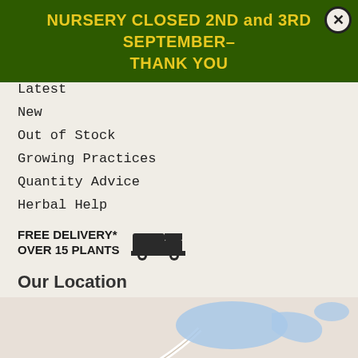NURSERY CLOSED 2ND and 3RD SEPTEMBER– THANK YOU
Latest
New
Out of Stock
Growing Practices
Quantity Advice
Herbal Help
FREE DELIVERY* OVER 15 PLANTS
Our Location
[Figure (map): Google Maps screenshot showing area around Norfolk Herbs, with markers for e Restoration Room Norfolk, Hood G K, and Norfolk Herbs. Church Ln road visible. Blue water features shown.]